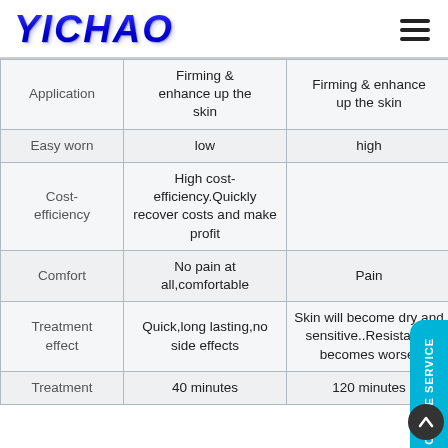YICHAO
| Application | Firming & enhance up the skin | Firming & enhance up the skin | Ac p |
| --- | --- | --- | --- |
| Easy worn | low | high |  |
| Cost-efficiency | High cost-efficiency.Quickly recover costs and make profit |  |  |
| Comfort | No pain at all,comfortable | Pain |  |
| Treatment effect | Quick,long lasting,no side effects | Skin will become dry and sensitive..Resistance becomes worse. |  |
| Treatment | 40 minutes | 120 minutes | 1 |